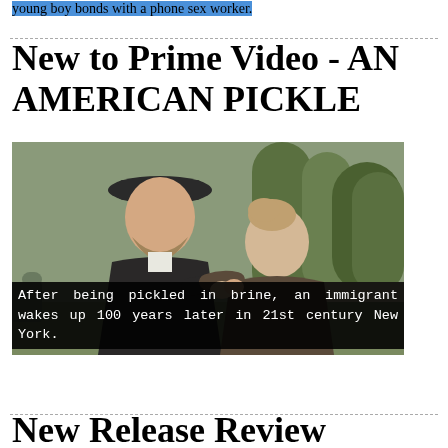young boy bonds with a phone sex worker.
New to Prime Video - AN AMERICAN PICKLE
[Figure (photo): A bearded man wearing a flat cap and a woman with her hair up, both dressed in period clothing, walking together outdoors near trees. The image is from the film An American Pickle.]
After being pickled in brine, an immigrant wakes up 100 years later in 21st century New York.
New Release Review